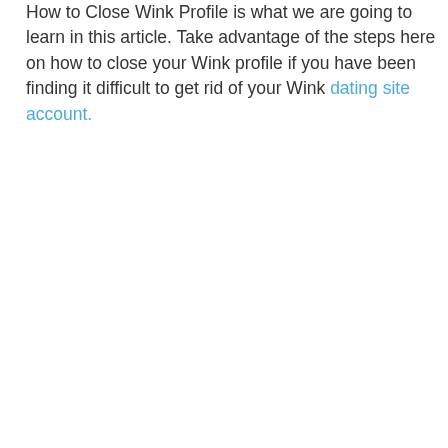How to Close Wink Profile is what we are going to learn in this article. Take advantage of the steps here on how to close your Wink profile if you have been finding it difficult to get rid of your Wink dating site account.